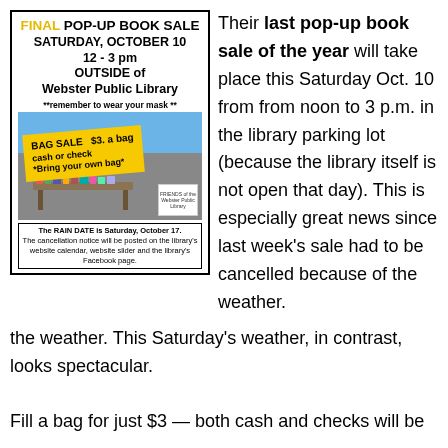[Figure (infographic): Flyer for Final Pop-Up Book Sale at Webster Public Library, Saturday October 10, 12-3pm, Bag Sale $3 a bag cash or check, bring your own bag, rain date Saturday October 17.]
Their last pop-up book sale of the year will take place this Saturday Oct. 10 from from noon to 3 p.m. in the library parking lot (because the library itself is not open that day). This is especially great news since last week's sale had to be cancelled because of the weather. This Saturday's weather, in contrast, looks spectacular.
Fill a bag for just $3 — both cash and checks will be